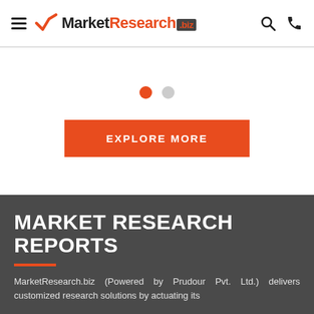MarketResearch.biz
[Figure (other): Carousel pagination dots - one orange active dot and one grey inactive dot]
EXPLORE MORE
MARKET RESEARCH REPORTS
MarketResearch.biz (Powered by Prudour Pvt. Ltd.) delivers customized research solutions by actuating its